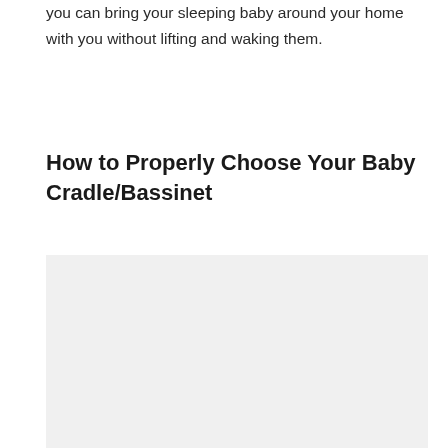you can bring your sleeping baby around your home with you without lifting and waking them.
How to Properly Choose Your Baby Cradle/Bassinet
[Figure (photo): Light gray placeholder image area for a photo related to baby cradle/bassinet selection]